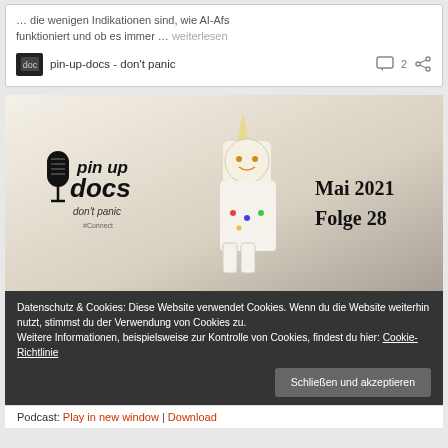… die wenigen Indikationen sind, wie AI-Afs funktioniert und ob es immer … weiterlesen
pin-up-docs - don't panic   2
[Figure (photo): Podcast cover image showing a LEGO unicorn figure with 'pin up docs dont panic' logo/text on left and 'Mai 2021 Folge 28' text on right, photo background]
Datenschutz & Cookies: Diese Website verwendet Cookies. Wenn du die Website weiterhin nutzt, stimmst du der Verwendung von Cookies zu. Weitere Informationen, beispielsweise zur Kontrolle von Cookies, findest du hier: Cookie-Richtlinie
Schließen und akzeptieren
Podcast: Play in new window | Download